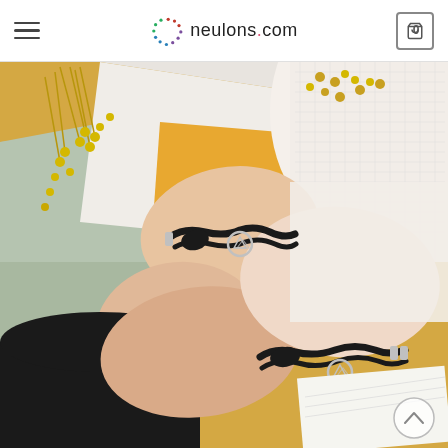neulons.com
[Figure (photo): Two hands wearing matching black rope bracelets with silver circular charms featuring mountain/nature motifs. Background includes dried yellow flower stems, teal/green paper, orange paper, and a white lace sleeve. One hand wears black sleeve, other wears white lace. Both bracelets are black knotted rope style with silver tubular clasps and round silver pendants.]